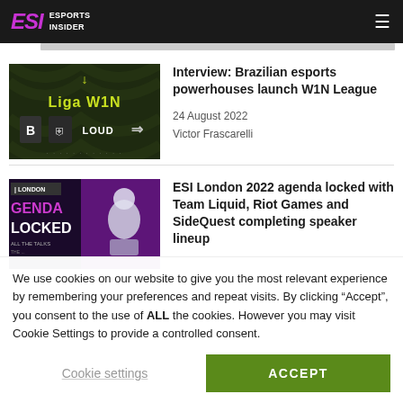ESI Esports Insider
[Figure (photo): Liga W1N thumbnail image with LOUD and other esports team logos on dark green background]
Interview: Brazilian esports powerhouses launch W1N League
24 August 2022
Victor Frascarelli
[Figure (photo): ESI London 2022 agenda locked event graphic with purple and black background]
ESI London 2022 agenda locked with Team Liquid, Riot Games and SideQuest completing speaker lineup
We use cookies on our website to give you the most relevant experience by remembering your preferences and repeat visits. By clicking "Accept", you consent to the use of ALL the cookies. However you may visit Cookie Settings to provide a controlled consent.